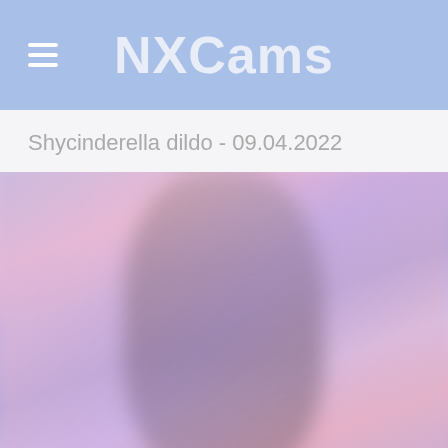NXCams
Shycinderella dildo - 09.04.2022
[Figure (photo): Blurred photo of a person with long dark hair in a dark top, against a colorful purple and pink background]